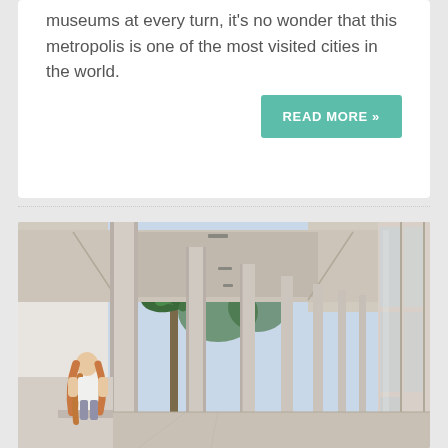museums at every turn, it's no wonder that this metropolis is one of the most visited cities in the world.
READ MORE »
[Figure (photo): Photo of a modern building colonnade with concrete pillars and glass walls. A woman with long hair stands at the left side near a palm tree. The setting appears to be an outdoor corridor or loggia of a contemporary building on a sunny day.]